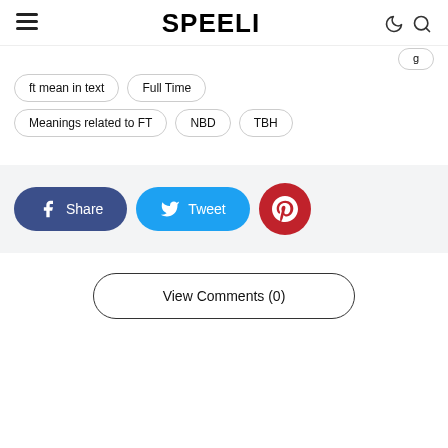SPEELI
ft mean in text
Full Time
Meanings related to FT
NBD
TBH
[Figure (screenshot): Social share buttons: Facebook Share, Twitter Tweet, Pinterest]
View Comments (0)